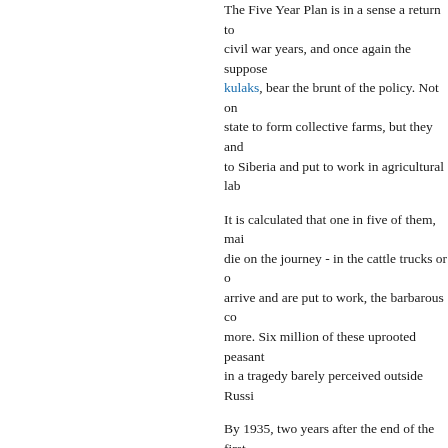The Five Year Plan is in a sense a return to the civil war years, and once again the supposed kulaks, bear the brunt of the policy. Not only is the state to form collective farms, but they and to Siberia and put to work in agricultural lab...
It is calculated that one in five of them, mai... die on the journey - in the cattle trucks or o... arrive and are put to work, the barbarous co... more. Six million of these uprooted peasant... in a tragedy barely perceived outside Russi...
By 1935, two years after the end of the first... 90% of Russia's agricultural land is farmed... a massive drop in production rather than th... forced to merge their own smallholdings in... peasants tend to slaughter their animals th... stock. And no amount of coercion is sufficie... sow for the future with anything like their pr...
During the early 1930s there are renewed f... deaths. But this time, unlike in 1921, there i... suffering - largely because Stalin does his b... disaster.
While collectivization is a failure, it turns ou... impose industrialization. Determined to give... industry, Stalin diverts production away fro... change requiring the public to accept unpre...
He secures efficiency in his new factories b... managers and skilled workers (convenienth... notions of equality), while using what is in...